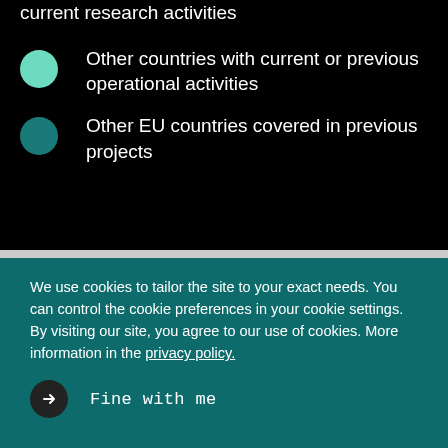current research activities
Other countries with current or previous operational activities
Other EU countries covered in previous projects
We use cookies to tailor the site to your exact needs. You can control the cookie preferences in your cookie settings. By visiting our site, you agree to our use of cookies. More information in the privacy policy.
Fine with me